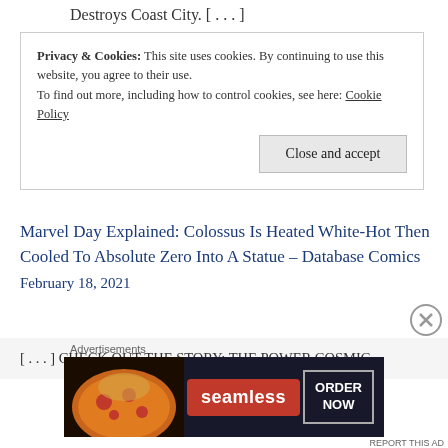Destroys Coast City. [...]
Privacy & Cookies: This site uses cookies. By continuing to use this website, you agree to their use. To find out more, including how to control cookies, see here: Cookie Policy
Close and accept
Marvel Day Explained: Colossus Is Heated White-Hot Then Cooled To Absolute Zero Into A Statue – Database Comics
February 18, 2021
[...] CHECK OUT THE STORY: THE POWER COSMIC.
Advertisements
[Figure (other): Seamless food delivery advertisement banner with pizza image, Seamless logo, and ORDER NOW button]